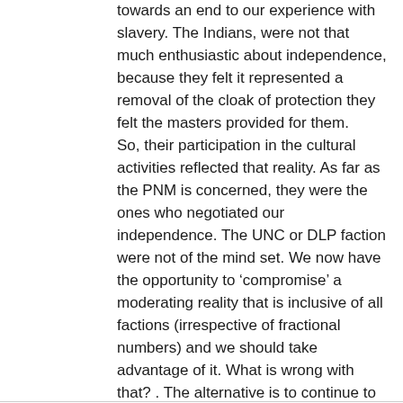towards an end to our experience with slavery. The Indians, were not that much enthusiastic about independence, because they felt it represented a removal of the cloak of protection they felt the masters provided for them. So, their participation in the cultural activities reflected that reality. As far as the PNM is concerned, they were the ones who negotiated our independence. The UNC or DLP faction were not of the mind set. We now have the opportunity to ‘compromise’ a moderating reality that is inclusive of all factions (irrespective of fractional numbers) and we should take advantage of it. What is wrong with that? . The alternative is to continue to be at each other’s throat endlessly.
Peace my brother!